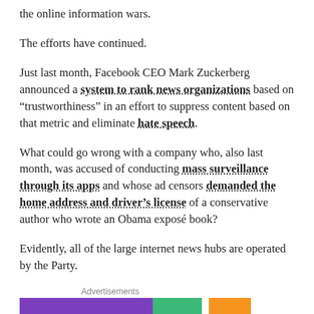the online information wars.
The efforts have continued.
Just last month, Facebook CEO Mark Zuckerberg announced a system to rank news organizations based on “trustworthiness” in an effort to suppress content based on that metric and eliminate hate speech.
What could go wrong with a company who, also last month, was accused of conducting mass surveillance through its apps and whose ad censors demanded the home address and driver’s license of a conservative author who wrote an Obama exposé book?
Evidently, all of the large internet news hubs are operated by the Party.
Advertisements